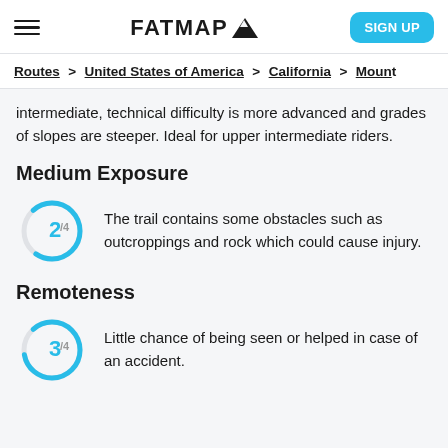FATMAP
Routes > United States of America > California > Moun...
intermediate, technical difficulty is more advanced and grades of slopes are steeper. Ideal for upper intermediate riders.
Medium Exposure
[Figure (infographic): Circular gauge showing 2/4 rating in blue]
The trail contains some obstacles such as outcroppings and rock which could cause injury.
Remoteness
[Figure (infographic): Circular gauge showing 3/4 rating in blue]
Little chance of being seen or helped in case of an accident.